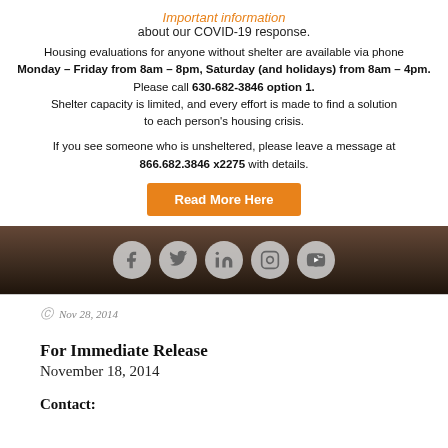Important information about our COVID-19 response.
Housing evaluations for anyone without shelter are available via phone Monday – Friday from 8am – 8pm, Saturday (and holidays) from 8am – 4pm. Please call 630-682-3846 option 1. Shelter capacity is limited, and every effort is made to find a solution to each person's housing crisis.
If you see someone who is unsheltered, please leave a message at 866.682.3846 x2275 with details.
[Figure (other): Orange 'Read More Here' button]
[Figure (photo): Dark brown banner with social media icons: Facebook, Twitter, LinkedIn, Instagram, YouTube]
Nov 28, 2014
For Immediate Release
November 18, 2014
Contact: